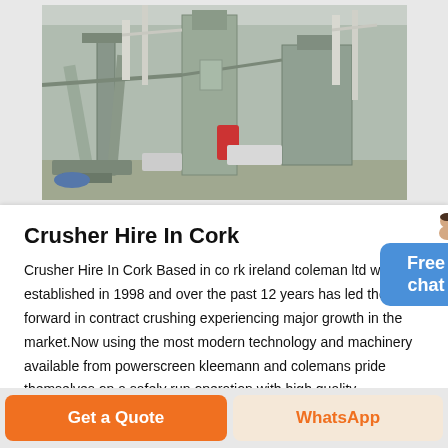[Figure (photo): Industrial crusher/quarry machinery and equipment facility, showing large metal structures, pipes, columns and industrial equipment in an outdoor setting.]
Crusher Hire In Cork
Crusher Hire In Cork Based in co rk ireland coleman ltd was established in 1998 and over the past 12 years has led the way forward in contract crushing experiencing major growth in the market.Now using the most modern technology and machinery available from powerscreen kleemann and colemans pride themselves on a safely run operation with high quality